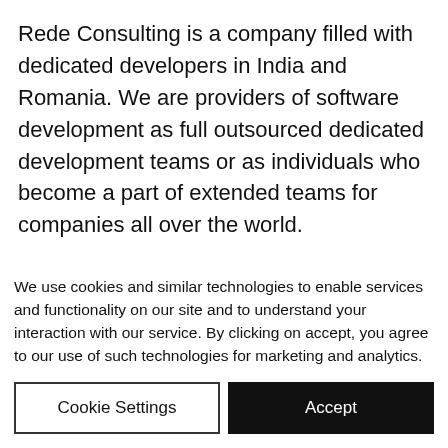Rede Consulting is a company filled with dedicated developers in India and Romania. We are providers of software development as full outsourced dedicated development teams or as individuals who become a part of extended teams for companies all over the world.

If you are in need of specialized ServiceNow expertise to fill gaps in your
We use cookies and similar technologies to enable services and functionality on our site and to understand your interaction with our service. By clicking on accept, you agree to our use of such technologies for marketing and analytics.